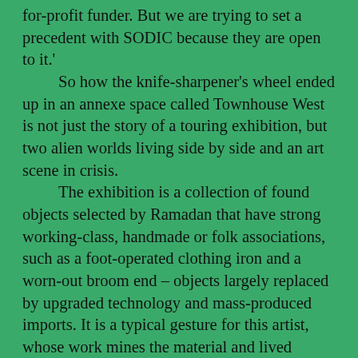for-profit funder. But we are trying to set a precedent with SODIC because they are open to it.' So how the knife-sharpener's wheel ended up in an annexe space called Townhouse West is not just the story of a touring exhibition, but two alien worlds living side by side and an art scene in crisis. The exhibition is a collection of found objects selected by Ramadan that have strong working-class, handmade or folk associations, such as a foot-operated clothing iron and a worn-out broom end – objects largely replaced by upgraded technology and mass-produced imports. It is a typical gesture for this artist, whose work mines the material and lived realities of working-class Egyptians. His 2004 video Iftar, for example, is a simple and almost painterly documentation of the breaking of the fast during Ramadan at the free meals held in public space. The taboo Ayman Ramadan breaks here is not in the portrayal of a religious ritual, but in unromantically depicting the lives of the poor in